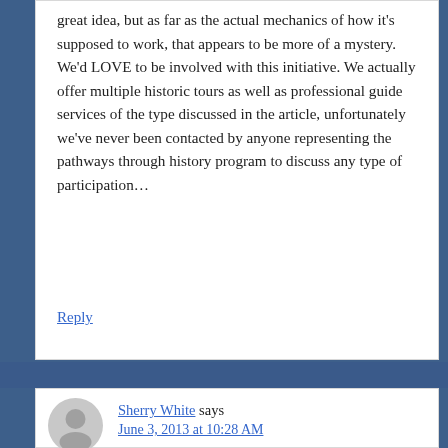great idea, but as far as the actual mechanics of how it’s supposed to work, that appears to be more of a mystery. We’d LOVE to be involved with this initiative. We actually offer multiple historic tours as well as professional guide services of the type discussed in the article, unfortunately we’ve never been contacted by anyone representing the pathways through history program to discuss any type of participation…
Reply
Sherry White says
June 3, 2013 at 10:28 AM